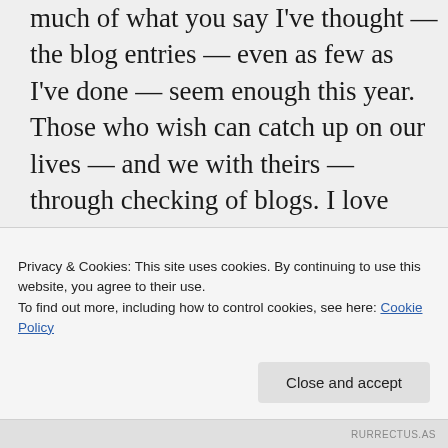much of what you say I've thought — the blog entries — even as few as I've done — seem enough this year. Those who wish can catch up on our lives — and we with theirs — through checking of blogs. I love how your grandchildren and their friends check yours — I don't think mine — the older ones, of course — even know this side of my life. But one day — yes, one day they will — and they'll find stories I've written about them and know how much I
Privacy & Cookies: This site uses cookies. By continuing to use this website, you agree to their use.
To find out more, including how to control cookies, see here: Cookie Policy
Close and accept
RURRECTUS.AS